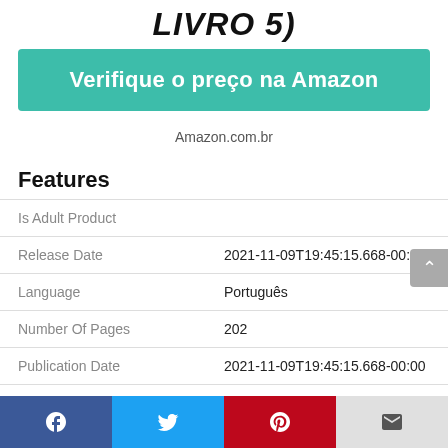LIVRO 5)
Verifique o preço na Amazon
Amazon.com.br
Features
| Feature | Value |
| --- | --- |
| Is Adult Product |  |
| Release Date | 2021-11-09T19:45:15.668-00:00 |
| Language | Português |
| Number Of Pages | 202 |
| Publication Date | 2021-11-09T19:45:15.668-00:00 |
| Format | eBook Kindle |
Facebook | Twitter | Pinterest | Email